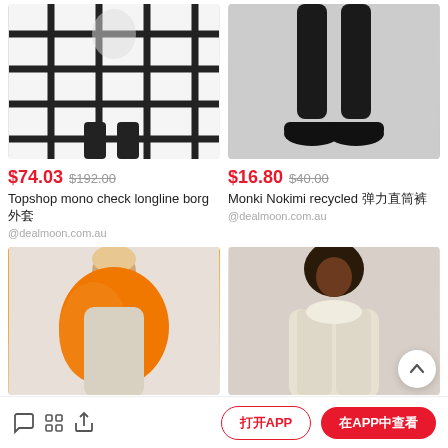[Figure (photo): Fashion photo: person wearing black and white mono check longline coat with black boots]
[Figure (photo): Fashion photo: lower body in black skinny pants with black loafer shoes on white background]
$74.03  $192.00
$16.80  $40.00
Topshop  mono check longline borg 外套
Monki  Nokimi recycled 弹力直筒裤
@dealmoon.com.au
@dealmoon.com.au
[Figure (photo): Fashion photo: person wearing bright orange large scarf/wrap over beige knitwear]
[Figure (photo): Fashion photo: woman in cream/off-white shearling jacket against light background]
对话  分享  打开APP  在APP中查看